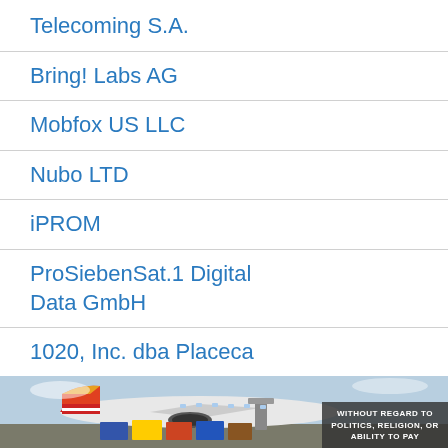Telecoming S.A.
Bring! Labs AG
Mobfox US LLC
Nubo LTD
iPROM
ProSiebenSat.1 Digital Data GmbH
1020, Inc. dba Placeca
[Figure (photo): Advertisement banner showing cargo airplane being loaded with packages, with text overlay 'WITHOUT REGARD TO POLITICS, RELIGION, OR ABILITY TO PAY']